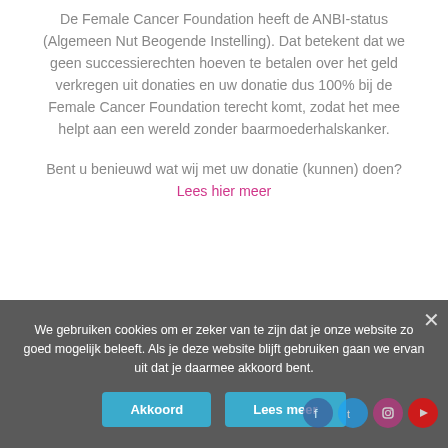De Female Cancer Foundation heeft de ANBI-status (Algemeen Nut Beogende Instelling). Dat betekent dat we geen successierechten hoeven te betalen over het geld verkregen uit donaties en uw donatie dus 100% bij de Female Cancer Foundation terecht komt, zodat het mee helpt aan een wereld zonder baarmoederhalskanker.
Bent u benieuwd wat wij met uw donatie (kunnen) doen?
Lees hier meer
We gebruiken cookies om er zeker van te zijn dat je onze website zo goed mogelijk beleeft. Als je deze website blijft gebruiken gaan we ervan uit dat je daarmee akkoord bent.